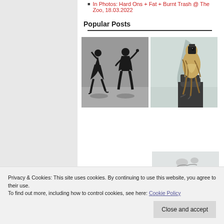In Photos: Hard Ons + Fat + Burnt Trash @ The Zoo, 18.03.2022
Popular Posts
[Figure (photo): Black and white silhouette photo of two people dancing]
[Figure (photo): Color photo of a falcon perched on a gloved hand with shadow on wall]
[Figure (photo): Partially visible photo, light colored background with small shapes]
[Figure (photo): Dark photo with blue light effect, partially visible]
Privacy & Cookies: This site uses cookies. By continuing to use this website, you agree to their use.
To find out more, including how to control cookies, see here: Cookie Policy
Close and accept